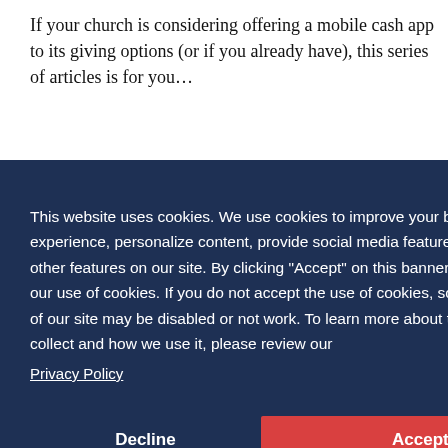If your church is considering offering a mobile cash app to its giving options (or if you already have), this series of articles is for you…
[Figure (screenshot): Cookie consent banner overlay on a webpage. Dark navy background with white text explaining cookie usage policy. Contains 'Decline' and 'Accept' buttons, with a 'Privacy Policy' link.]